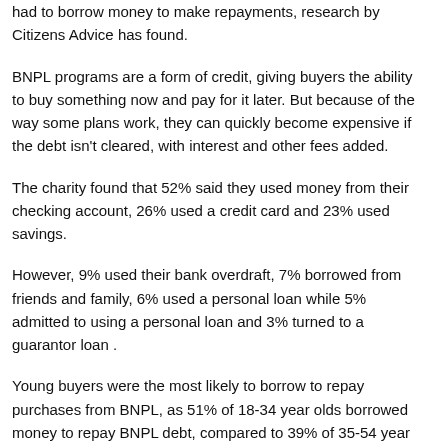had to borrow money to make repayments, research by Citizens Advice has found.
BNPL programs are a form of credit, giving buyers the ability to buy something now and pay for it later. But because of the way some plans work, they can quickly become expensive if the debt isn't cleared, with interest and other fees added.
The charity found that 52% said they used money from their checking account, 26% used a credit card and 23% used savings.
However, 9% used their bank overdraft, 7% borrowed from friends and family, 6% used a personal loan while 5% admitted to using a personal loan and 3% turned to a guarantor loan .
Young buyers were the most likely to borrow to repay purchases from BNPL, as 51% of 18-34 year olds borrowed money to repay BNPL debt, compared to 39% of 35-54 year olds and 24% of over 55s.